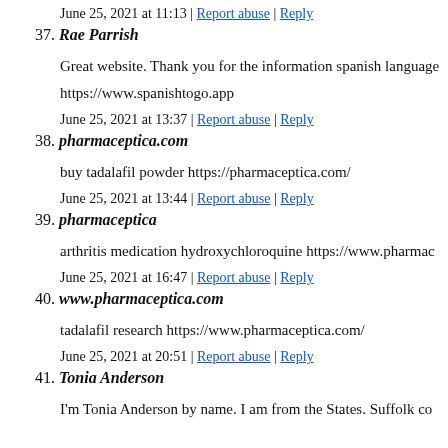June 25, 2021 at 11:13 | Report abuse | Reply
37. Rae Parrish
Great website. Thank you for the information spanish language
https://www.spanishtogo.app
June 25, 2021 at 13:37 | Report abuse | Reply
38. pharmaceptica.com
buy tadalafil powder https://pharmaceptica.com/
June 25, 2021 at 13:44 | Report abuse | Reply
39. pharmaceptica
arthritis medication hydroxychloroquine https://www.pharmac
June 25, 2021 at 16:47 | Report abuse | Reply
40. www.pharmaceptica.com
tadalafil research https://www.pharmaceptica.com/
June 25, 2021 at 20:51 | Report abuse | Reply
41. Tonia Anderson
I'm Tonia Anderson by name. I am from the States. Suffolk co